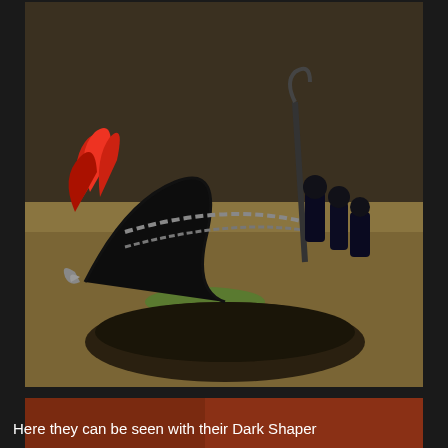[Figure (photo): Painted miniature wargaming figure showing a dark creature with red feathered mane chained to a chariot-like structure with dark armored riders, on a sandy scenic base]
[Figure (photo): Close-up of multiple dark blue armored humanoid miniature figures with white skull-like faces and hooked weapons, posed on a sandy scenic base with orange/red background]
Here they can be seen with their Dark Shaper